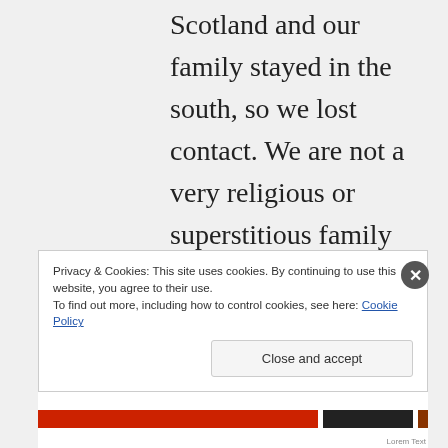Scotland and our family stayed in the south, so we lost contact. We are not a very religious or superstitious family at all. I look forward to reading your post on
Privacy & Cookies: This site uses cookies. By continuing to use this website, you agree to their use. To find out more, including how to control cookies, see here: Cookie Policy